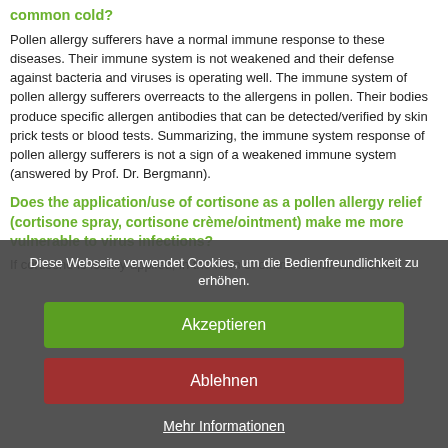common cold?
Pollen allergy sufferers have a normal immune response to these diseases. Their immune system is not weakened and their defense against bacteria and viruses is operating well. The immune system of pollen allergy sufferers overreacts to the allergens in pollen. Their bodies produce specific allergen antibodies that can be detected/verified by skin prick tests or blood tests. Summarizing, the immune system response of pollen allergy sufferers is not a sign of a weakened immune system (answered by Prof. Dr. Bergmann).
Does the application/use of cortisone as a pollen allergy relief (cortisone spray, cortisone crème/ointment) make me more vulnerable to virus infections?
If cortisone is locally applied, in the form of ointments for cutaneous allergy…
Diese Webseite verwendet Cookies, um die Bedienfreundlichkeit zu erhöhen.
Akzeptieren
Ablehnen
Mehr Informationen